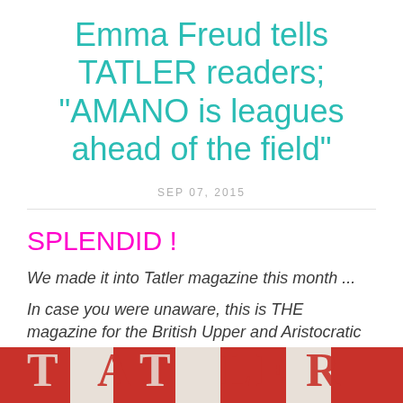Emma Freud tells TATLER readers; "AMANO is leagues ahead of the field"
SEP 07, 2015
SPLENDID !
We made it into Tatler magazine this month ...
In case you were unaware, this is THE magazine for the British Upper and Aristocratic classes
[Figure (photo): Bottom strip showing partial magazine cover with red and white design, partially cropped]